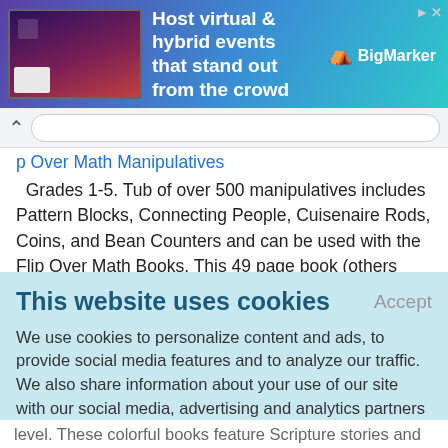[Figure (screenshot): BigMarker advertisement banner: 'Host virtual & hybrid events that stand out from the crowd' with BigMarker logo on gradient purple-teal background]
Flip Over Math Manipulatives
Grades 1-5. Tub of over 500 manipulatives includes Pattern Blocks, Connecting People, Cuisenaire Rods, Coins, and Bean Counters and can be used with the Flip Over Math Books. This 49 page book (others sold separately) is written to NCTM Standards and provide hands on activities from
This website uses cookies
Accept
We use cookies to personalize content and ads, to provide social media features and to analyze our traffic. We also share information about your use of our site with our social media, advertising and analytics partners who may combine it with other information that you've provided to them or that they've collected from your use of their services.
Learn More.
level. These colorful books feature Scripture stories and